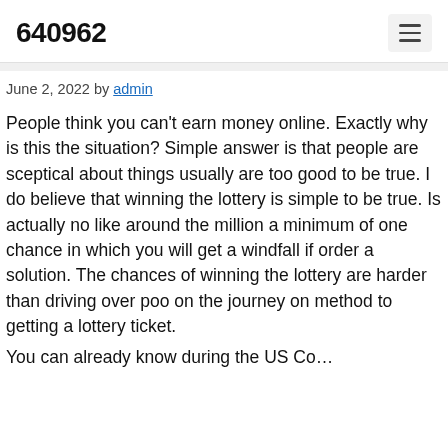640962
June 2, 2022 by admin
People think you can't earn money online. Exactly why is this the situation? Simple answer is that people are sceptical about things usually are too good to be true. I do believe that winning the lottery is simple to be true. Is actually no like around the million a minimum of one chance in which you will get a windfall if order a solution. The chances of winning the lottery are harder than driving over poo on the journey on method to getting a lottery ticket.
You can already know during the US Cod...